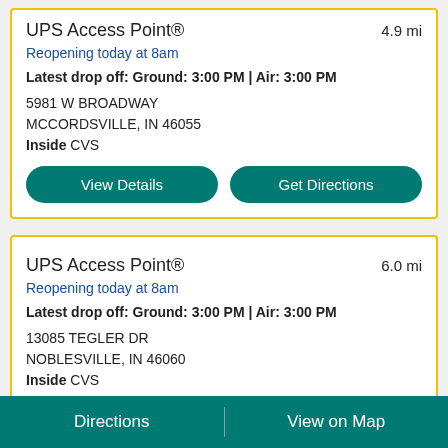UPS Access Point®
4.9 mi
Reopening today at 8am
Latest drop off: Ground: 3:00 PM | Air: 3:00 PM
5981 W BROADWAY
MCCORDSVILLE, IN 46055
Inside CVS
View Details
Get Directions
UPS Access Point®
6.0 mi
Reopening today at 8am
Latest drop off: Ground: 3:00 PM | Air: 3:00 PM
13085 TEGLER DR
NOBLESVILLE, IN 46060
Inside CVS
Directions | View on Map